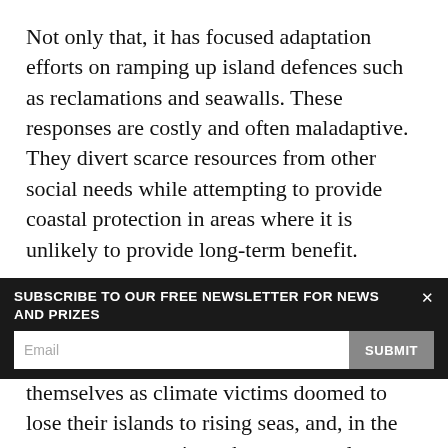Not only that, it has focused adaptation efforts on ramping up island defences such as reclamations and seawalls. These responses are costly and often maladaptive. They divert scarce resources from other social needs while attempting to provide coastal protection in areas where it is unlikely to provide long-term benefit.
Perhaps the most damaging effect of the drowning-islands rhetoric is that it has conditioned atoll islanders to think of themselves as climate victims doomed to lose their islands to rising seas, and, in the worst-case scenario, to become stateless refugees. Recognition that their land will not disappear gives island dwellers hope and incentive to draw on their traditional traits of resilience, adaptability and skill in continuing to inhabit the
[Figure (screenshot): Newsletter subscription overlay banner with dark background. Title: 'SUBSCRIBE TO OUR FREE NEWSLETTER FOR NEWS AND PRIZES'. Close button (x) on top right. Email input field with placeholder 'Email' and a grey 'SUBMIT' button.]